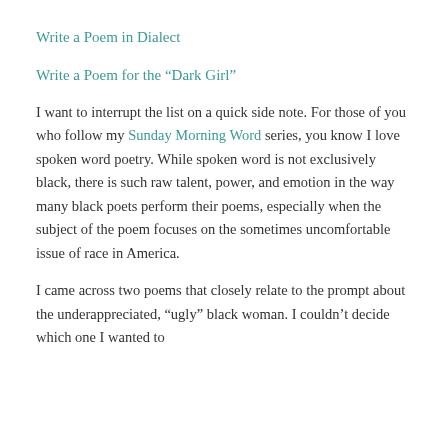Write a Poem in Dialect
Write a Poem for the “Dark Girl”
I want to interrupt the list on a quick side note. For those of you who follow my Sunday Morning Word series, you know I love spoken word poetry. While spoken word is not exclusively black, there is such raw talent, power, and emotion in the way many black poets perform their poems, especially when the subject of the poem focuses on the sometimes uncomfortable issue of race in America.
I came across two poems that closely relate to the prompt about the underappreciated, “ugly” black woman. I couldn’t decide which one I wanted to